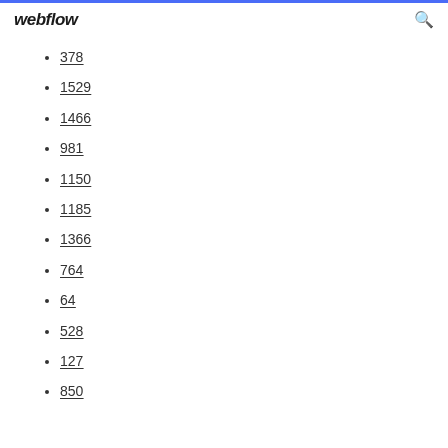webflow
378
1529
1466
981
1150
1185
1366
764
64
528
127
850